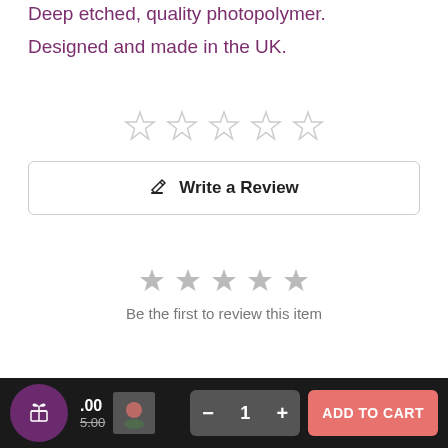Deep etched, quality photopolymer.
Designed and made in the UK.
[Figure (other): Five empty star rating icons (outline only) centered on page]
✎ Write a Review
[Figure (other): Five small grey star icons centered, below which is the text 'Be the first to review this item']
Be the first to review this item
Gift badge | Price .00 / 5.00 | Quantity selector: − 1 + | ADD TO CART